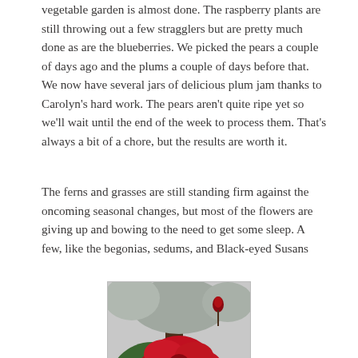vegetable garden is almost done. The raspberry plants are still throwing out a few stragglers but are pretty much done as are the blueberries. We picked the pears a couple of days ago and the plums a couple of days before that. We now have several jars of delicious plum jam thanks to Carolyn’s hard work. The pears aren’t quite ripe yet so we’ll wait until the end of the week to process them. That’s always a bit of a chore, but the results are worth it.
The ferns and grasses are still standing firm against the oncoming seasonal changes, but most of the flowers are giving up and bowing to the need to get some sleep. A few, like the begonias, sedums, and Black-eyed Susans
[Figure (photo): A red begonia flower in bloom with green leaves, photographed outdoors with trees in the background.]
Begonia